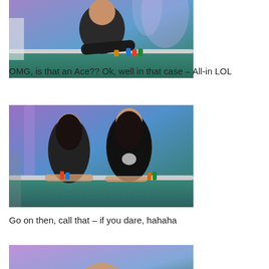[Figure (photo): Woman in black shirt at a poker table with poker chips, leaning forward, purple stage lighting in background]
OMG, is that an Ace?? Ok, well in that case – All-in LOL
[Figure (photo): Two women at a poker table with chips, purple and blue stage lighting in background, both looking serious]
Go on then, call that – if you dare, hahaha
[Figure (photo): Partial view of a person at a poker table, purple background, cropped at bottom of page]